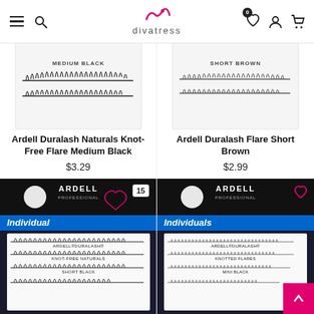divatress - navigation header with menu, search, wishlist, account, cart (0 items)
[Figure (photo): Ardell Duralash Naturals Knot-Free Flare Medium Black product package showing rows of false eyelashes labeled MEDIUM BLACK]
Ardell Duralash Naturals Knot-Free Flare Medium Black
$3.29
[Figure (photo): Ardell Duralash Flare Short Brown product package showing rows of false eyelashes labeled SHORT BROWN]
Ardell Duralash Flare Short Brown
$2.99
[Figure (photo): Ardell Individual Knot-Free Naturals Short Black product package with blue bokeh background, badge showing 15]
[Figure (photo): Ardell Individuals Knotted Flares Mini Black product package with blue bokeh background, heart wishlist icon, back-to-top button]